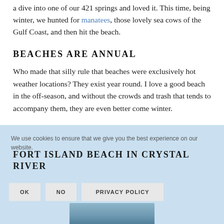a dive into one of our 421 springs and loved it. This time, being winter, we hunted for manatees, those lovely sea cows of the Gulf Coast, and then hit the beach.
BEACHES ARE ANNUAL
Who made that silly rule that beaches were exclusively hot weather locations? They exist year round. I love a good beach in the off-season, and without the crowds and trash that tends to accompany them, they are even better come winter.
FORT ISLAND BEACH IN CRYSTAL RIVER
We use cookies to ensure that we give you the best experience on our website. OK NO PRIVACY POLICY